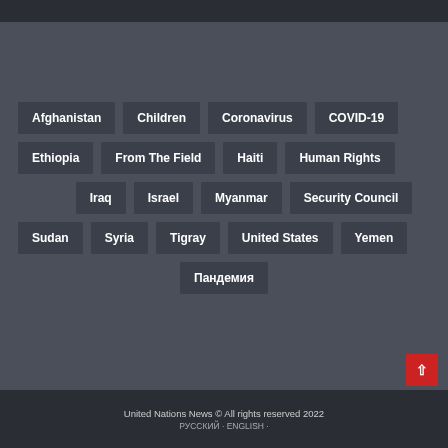Afghanistan
Children
Coronavirus
COVID-19
Ethiopia
From The Field
Haiti
Human Rights
Iraq
Israel
Myanmar
Security Council
Sudan
Syria
Tigray
United States
Yemen
Пандемия
United Nations News © All rights reserved 2022
РУССКИЙ · ENGLISH ·